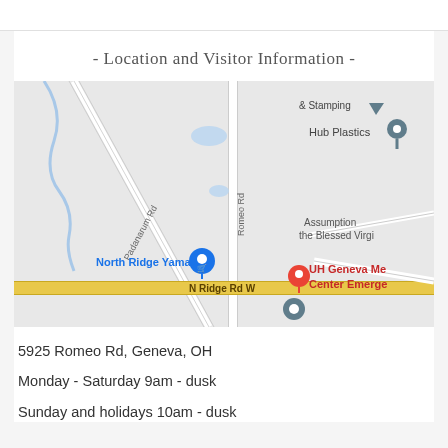- Location and Visitor Information -
[Figure (map): Google Maps screenshot showing the area around 5925 Romeo Rd, Geneva, OH. Visible landmarks include North Ridge Yamaha, Hub Plastics, UH Geneva Medical Center Emergency, Assumption of the Blessed Virgin, and road labels including N Ridge Rd W, Romeo Rd, and Padanarum Rd.]
5925 Romeo Rd, Geneva, OH
Monday - Saturday 9am - dusk
Sunday and holidays 10am - dusk